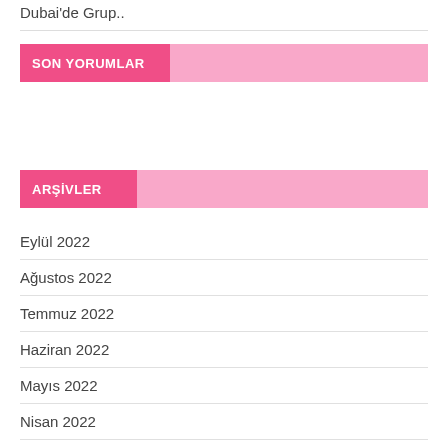Dubai'de Grup..
SON YORUMLAR
ARŞİVLER
Eylül 2022
Ağustos 2022
Temmuz 2022
Haziran 2022
Mayıs 2022
Nisan 2022
Mart 2022
Şubat 2022